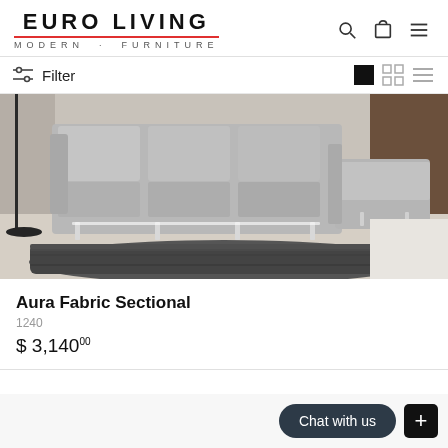EURO LIVING · MODERN · FURNITURE
Filter
[Figure (photo): Photo of a modern light grey fabric sectional sofa with chaise lounge, chrome legs, on a dark shag rug in a contemporary living room setting.]
Aura Fabric Sectional
1240
$ 3,140.00
Chat with us